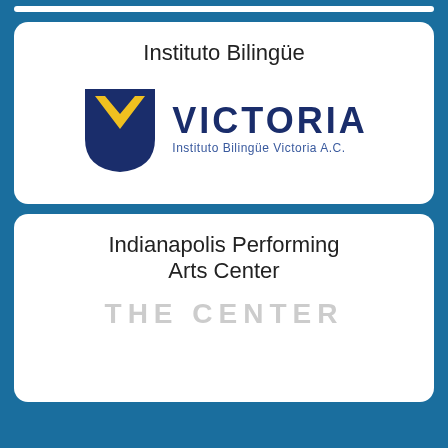Instituto Bilingüe
[Figure (logo): Victoria Instituto Bilingüe Victoria A.C. logo with navy and yellow shield emblem]
Indianapolis Performing Arts Center
[Figure (logo): THE CENTER logo text in light gray uppercase letters with wide spacing]